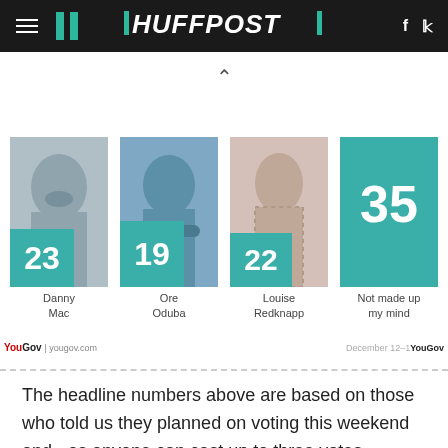HUFFPOST
[Figure (infographic): YouGov poll infographic showing Strictly Come Dancing finale vote intentions: Danny Mac 23%, Ore Oduba 19%, Louise Redknapp 22%, Not made up my mind 35%. Each contestant shown with photo and teal number box.]
The headline numbers above are based on those who told us they planned on voting this weekend and - as anyone can cast up to three votes through the BBC website - take account of repeat voting. In total we surveyed nearly 10,000 members of the general public to build a